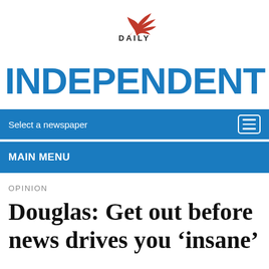[Figure (logo): Daily Independent newspaper logo — red bird/phoenix icon above the word DAILY, above large blue INDEPENDENT masthead text]
Select a newspaper
MAIN MENU
OPINION
Douglas: Get out before news drives you ‘insane’